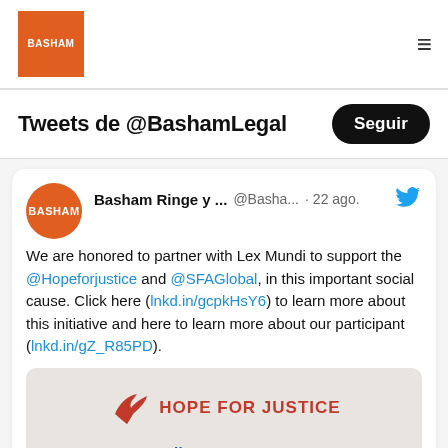[Figure (logo): Basham law firm logo — orange square with white BASHAM text]
Tweets de @BashamLegal
Seguir
Basham Ringe y ... @Basha... · 22 ago.
We are honored to partner with Lex Mundi to support the @Hopeforjustice and @SFAGlobal, in this important social cause. Click here (lnkd.in/gcpkHsY6) to learn more about this initiative and here to learn more about our participant (lnkd.in/gZ_R85PD).
[Figure (screenshot): Hope For Justice and LexMundi / Extreme logos on a textured grey background]